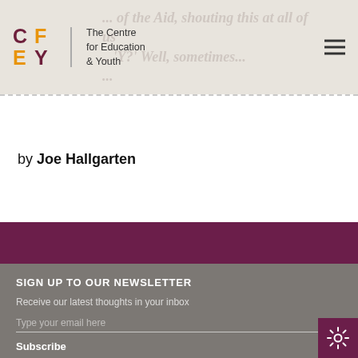The Centre for Education & Youth
by Joe Hallgarten
SIGN UP TO OUR NEWSLETTER
Receive our latest thoughts in your inbox
Type your email here
Subscribe